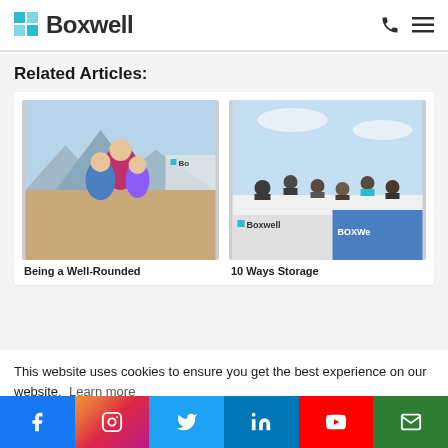Boxwell
Related Articles:
[Figure (photo): Photo of children playing outdoors with mountains and a Boxwell storage container in the background]
Being a Well-Rounded
[Figure (photo): Photo of a group of people sitting on top of a Boxwell storage container with blue sky behind them]
10 Ways Storage
This website uses cookies to ensure you get the best experience on our website. Learn more
AGREE
Facebook | Instagram | Twitter | LinkedIn | YouTube | Email